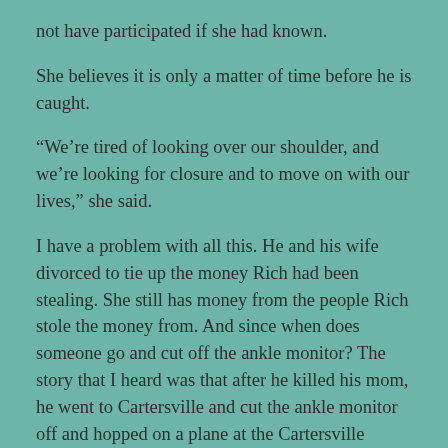not have participated if she had known.
She believes it is only a matter of time before he is caught.
“We’re tired of looking over our shoulder, and we’re looking for closure and to move on with our lives,” she said.
I have a problem with all this. He and his wife divorced to tie up the money Rich had been stealing. She still has money from the people Rich stole the money from. And since when does someone go and cut off the ankle monitor? The story that I heard was that after he killed his mom, he went to Cartersville and cut the ankle monitor off and hopped on a plane at the Cartersville airport (very small airport). That’s just what I heard. I also can’t imagine why he was still out walking around anyway.